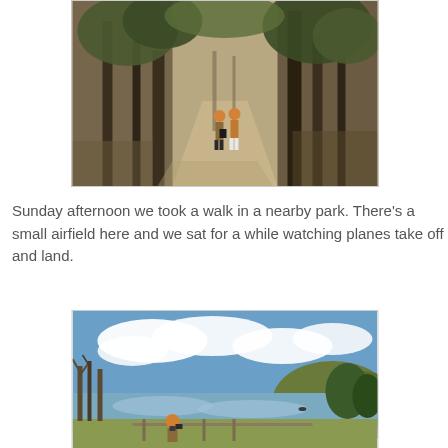[Figure (photo): Two people walking away down a tree-lined path in a park, autumn foliage, tall evergreen trees on both sides, one person wearing orange hat]
Sunday afternoon we took a walk in a nearby park. There’s a small airfield here and we sat for a while watching planes take off and land.
[Figure (photo): A person with an orange hat photographing a scenic lake with clouds reflected in the water, hills and bare trees in the background, autumn scene]